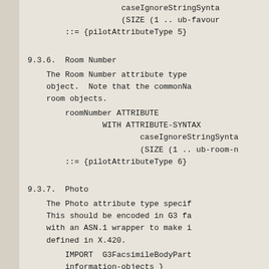caseIgnoreStringSynta
(SIZE (1 .. ub-favour
::= {pilotAttributeType 5}
9.3.6.  Room Number
The Room Number attribute type
object.  Note that the commonNa
room objects.
roomNumber ATTRIBUTE
    WITH ATTRIBUTE-SYNTAX
            caseIgnoreStringSynta
            (SIZE (1 .. ub-room-n
    ::= {pilotAttributeType 6}
9.3.7.  Photo
The Photo attribute type specif
This should be encoded in G3 fa
with an ASN.1 wrapper to make i
defined in X.420.
IMPORT  G3FacsimileBodyPart
information-objects }